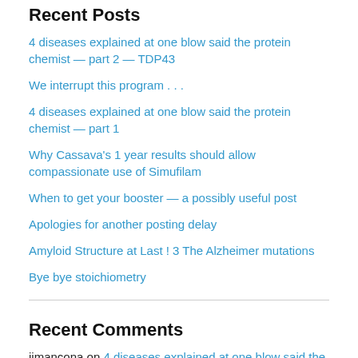Recent Posts
4 diseases explained at one blow said the protein chemist — part 2 — TDP43
We interrupt this program . . .
4 diseases explained at one blow said the protein chemist — part 1
Why Cassava's 1 year results should allow compassionate use of Simufilam
When to get your booster — a possibly useful post
Apologies for another posting delay
Amyloid Structure at Last ! 3 The Alzheimer mutations
Bye bye stoichiometry
Recent Comments
jimancona on 4 diseases explained at one blow said the protein chemist — part 1
REearthable on 4 diseases explained at one blow said the protein chemist — part 1
Ken Lipman, MD on Cassava's Cognition Maintenance Study may prove